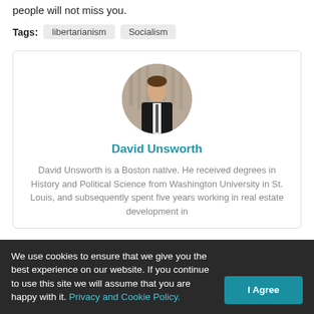people will not miss you.
Tags: libertarianism   Socialism
[Figure (photo): Circular profile photo of David Unsworth, a man in a suit holding a glass]
David Unsworth
David Unsworth is a Boston native. He received degrees in History and Political Science from Washington University in St. Louis, and subsequently spent five years working in real estate development in
We use cookies to ensure that we give you the best experience on our website. If you continue to use this site we will assume that you are happy with it. Privacy and Cookie Policy.   I Agree